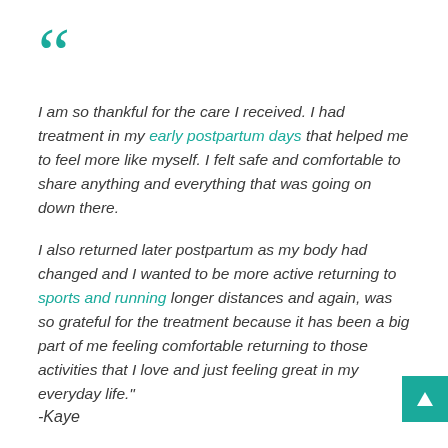[Figure (illustration): Large teal double opening quotation mark decorative element]
I am so thankful for the care I received. I had treatment in my early postpartum days that helped me to feel more like myself. I felt safe and comfortable to share anything and everything that was going on down there.

I also returned later postpartum as my body had changed and I wanted to be more active returning to sports and running longer distances and again, was so grateful for the treatment because it has been a big part of me feeling comfortable returning to those activities that I love and just feeling great in my everyday life."
-Kaye